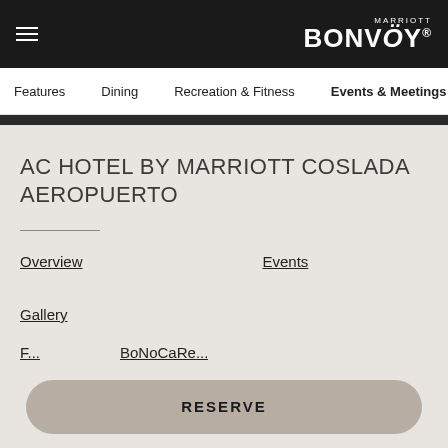MARRIOTT BONVOY
Features    Dining    Recreation & Fitness    Events & Meetings
AC HOTEL BY MARRIOTT COSLADA AEROPUERTO
Overview
Events
Gallery
RESERVE